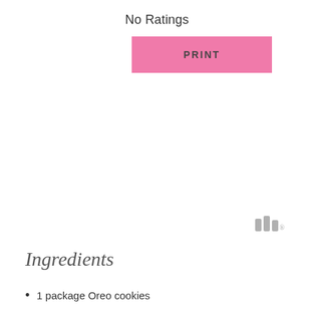No Ratings
PRINT
Ingredients
1 package Oreo cookies